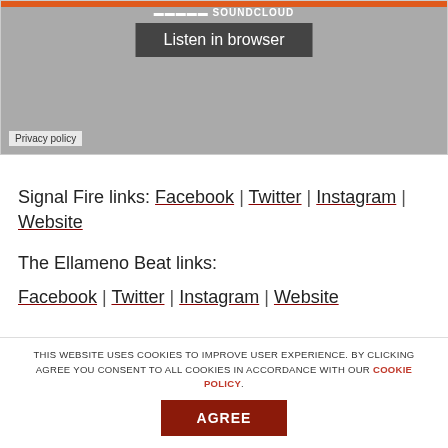[Figure (screenshot): SoundCloud embedded player widget with gray background, orange top bar, SoundCloud logo, 'Listen in browser' button, and Privacy policy label at bottom left]
Signal Fire links: Facebook | Twitter | Instagram | Website
The Ellameno Beat links: Facebook | Twitter | Instagram | Website
THIS WEBSITE USES COOKIES TO IMPROVE USER EXPERIENCE. BY CLICKING AGREE YOU CONSENT TO ALL COOKIES IN ACCORDANCE WITH OUR COOKIE POLICY. AGREE